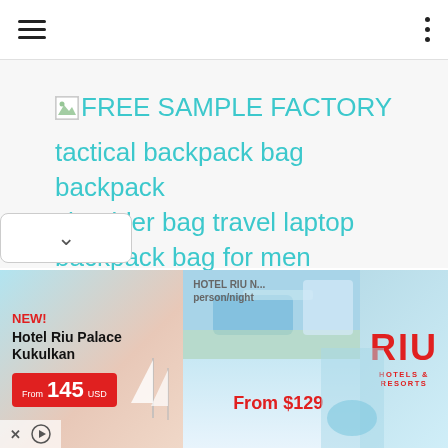Navigation bar with hamburger menu and three-dot menu
[Figure (screenshot): Broken image icon placeholder for FREE SAMPLE FACTORY logo]
FREE SAMPLE FACTORY tactical backpack bag backpack shoulder bag travel laptop backpack bag for men
[Figure (infographic): Advertisement banner for Hotel Riu Palace Kukulkan. NEW! Hotel Riu Palace Kukulkan From 145 USD. HOTEL RIU N... person/night From $129. RIU HOTELS & RESORTS logo.]